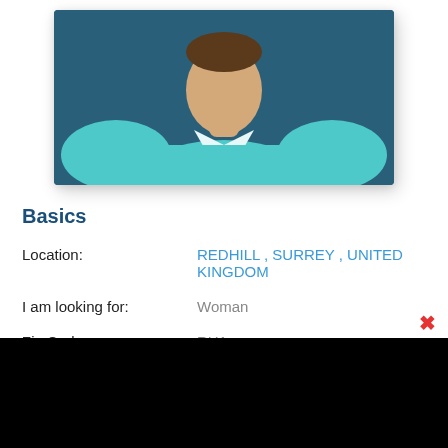[Figure (illustration): Profile avatar illustration showing a man in a teal/cyan dress shirt and dark tie, set against a dark blue background, displayed as a card with drop shadow]
Basics
Location: REDHILL, SURREY, UNITED KINGDOM
I am looking for: Woman
Zip Code: RH1
Age: 52
Height: 5 ft. 11 in.
Body: Average